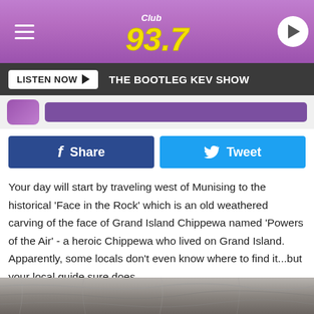[Figure (screenshot): Club 93.7 radio station header logo on purple gradient background with hamburger menu on left and play button on right]
LISTEN NOW ▶  THE BOOTLEG KEV SHOW
[Figure (screenshot): Purple avatar icon and purple input bar on light grey background]
f Share
Tweet
Your day will start by traveling west of Munising to the historical 'Face in the Rock' which is an old weathered carving of the face of Grand Island Chippewa named 'Powers of the Air' - a heroic Chippewa who lived on Grand Island. Apparently, some locals don't even know where to find it...but your local guide sure does.
[Figure (photo): Rock texture / stone surface photo at bottom of page]